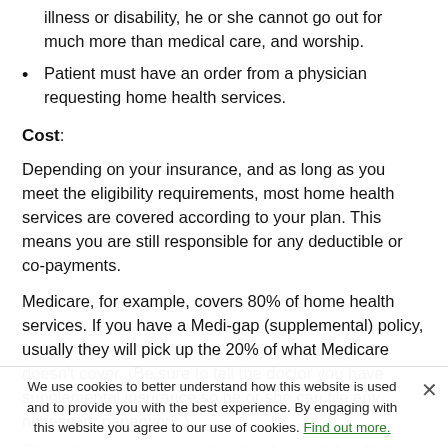illness or disability, he or she cannot go out for much more than medical care, and worship.
Patient must have an order from a physician requesting home health services.
Cost:
Depending on your insurance, and as long as you meet the eligibility requirements, most home health services are covered according to your plan. This means you are still responsible for any deductible or co-payments.
Medicare, for example, covers 80% of home health services. If you have a Medi-gap (supplemental) policy, usually they will pick up the 20% of what Medicare doesn't cover. (Be sure to tell the doctor you have supplemental insurance so he or she can file any necessary paperwork.)
There may be services, equipment or supplies that are not covered by your insurance. If that is the case, we will let
We use cookies to better understand how this website is used and to provide you with the best experience. By engaging with this website you agree to our use of cookies. Find out more.